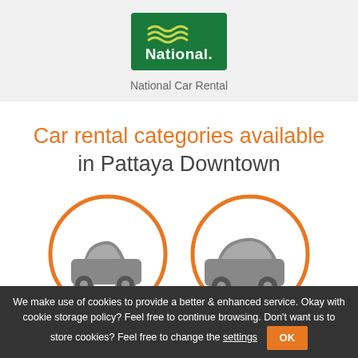[Figure (logo): National Car Rental logo — green rectangle with white wave lines and 'National.' text in white]
National Car Rental
Car rental categories available in Pattaya Downtown
[Figure (illustration): Two orange-outlined circles each containing a gray car icon — a small compact car on the left and a slightly larger compact car on the right]
We make use of cookies to provide a better & enhanced service. Okay with cookie storage policy? Feel free to continue browsing. Don't want us to store cookies? Feel free to change the settings